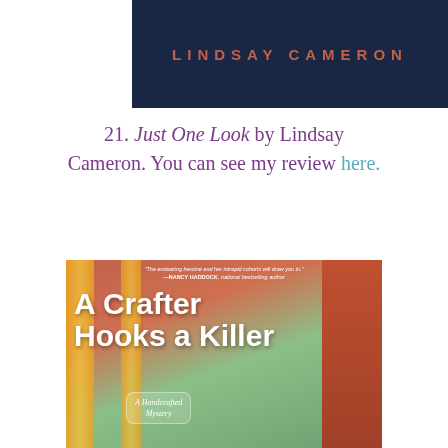[Figure (illustration): Top portion of a book cover for 'Just One Look' by Lindsay Cameron showing the author name 'LINDSAY CAMERON' in red letters on a dark navy blue background]
21. Just One Look by Lindsay Cameron. You can see my review here.
[Figure (illustration): Book cover for 'A Crafter Hooks a Killer' — A Handcrafted Mystery. Shows a colorful craft store exterior with yellow pillars, green trees, and brick building. Blurb: 'The endearing heroine and her intrepid cohorts will draw you in.' —NANCY HADDOCK, national bestselling author]